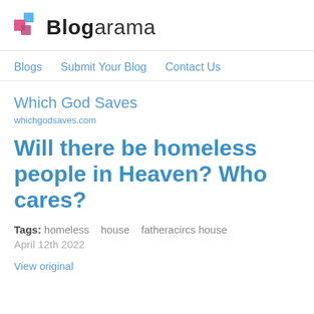Blogarama
Blogs   Submit Your Blog   Contact Us
Which God Saves
whichgodsaves.com
Will there be homeless people in Heaven? Who cares?
Tags: homeless   house   fatheracircs house
April 12th 2022
View original